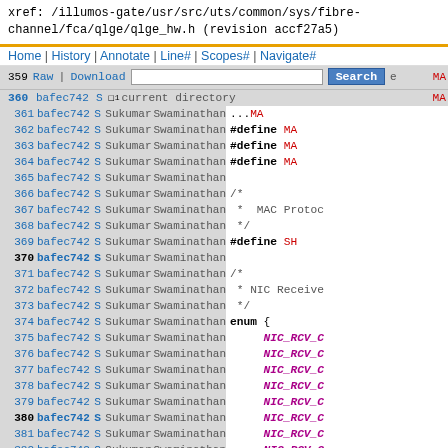xref: /illumos-gate/usr/src/uts/common/sys/fibre-channel/fca/qlge/qlge_hw.h (revision accf27a5)
Home | History | Annotate | Line# | Scopes# | Navigate#
Raw | Download  [Search]  current directory
Source code viewer lines 359-384 with annotations, bafec742, Sukumar Swaminathan, #define, enum { NIC_RCV_C... }